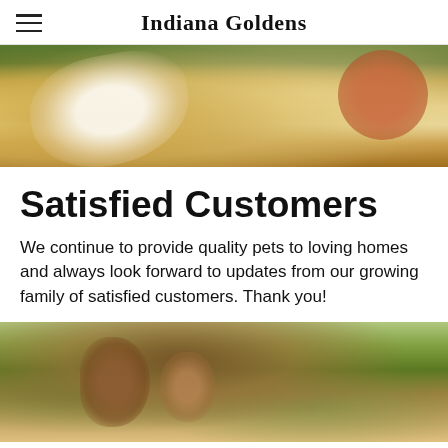Indiana Goldens
[Figure (photo): Close-up photo of a golden retriever puppy with colorful background, partial view showing white/golden fur]
Satisfied Customers
We continue to provide quality pets to loving homes and always look forward to updates from our growing family of satisfied customers. Thank you!
[Figure (photo): Photo of children posing together outdoors in a garden setting with plants and a house in the background]